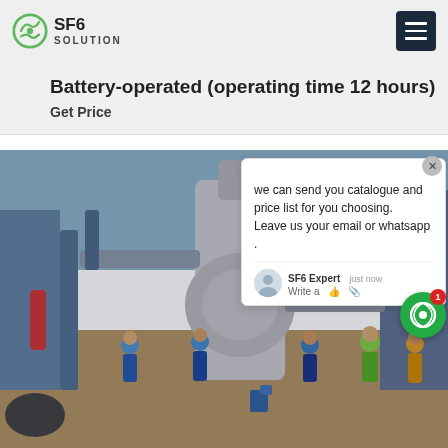SF6 SOLUTION
Battery-operated (operating time 12 hours)
Get Price
[Figure (photo): Workers in blue coveralls and hard hats inspecting large industrial SF6 gas equipment at an outdoor substation or industrial facility. Multiple workers surround large grey cylindrical pipe equipment. Cranes and industrial structures visible in background.]
we can send you catalogue and price list for you choosing.
Leave us your email or whatsapp .

SF6 Expert   just now
Write a